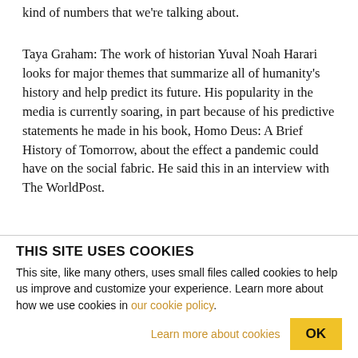kind of numbers that we're talking about.
Taya Graham: The work of historian Yuval Noah Harari looks for major themes that summarize all of humanity's history and help predict its future. His popularity in the media is currently soaring, in part because of his predictive statements he made in his book, Homo Deus: A Brief History of Tomorrow, about the effect a pandemic could have on the social fabric. He said this in an interview with The WorldPost.
THIS SITE USES COOKIES
This site, like many others, uses small files called cookies to help us improve and customize your experience. Learn more about how we use cookies in our cookie policy.
Learn more about cookies
OK